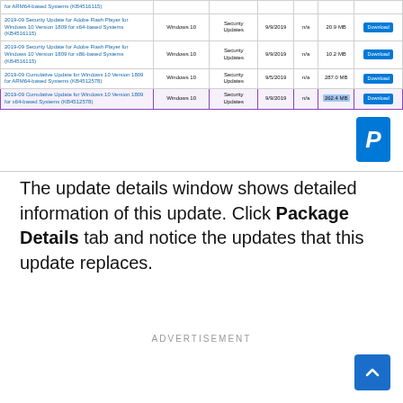[Figure (screenshot): Screenshot of a Windows Update catalog table showing security updates for Adobe Flash Player and cumulative updates for Windows 10. Columns: Title, Product, Classification, Last Updated, Version, Size, Download button. The last row (2019-09 Cumulative Update for Windows 10 Version 1809 for x64-based Systems KB4512578) is highlighted with a purple border.]
The update details window shows detailed information of this update. Click Package Details tab and notice the updates that this update replaces.
ADVERTISEMENT